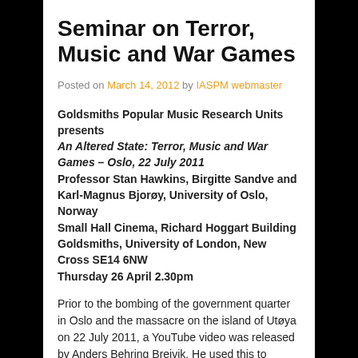Seminar on Terror, Music and War Games
Posted on March 14, 2012 by IASPM webmaster
Goldsmiths Popular Music Research Units presents An Altered State: Terror, Music and War Games – Oslo, 22 July 2011
Professor Stan Hawkins, Birgitte Sandve and Karl-Magnus Bjorøy, University of Oslo, Norway
Small Hall Cinema, Richard Hoggart Building
Goldsmiths, University of London, New Cross SE14 6NW
Thursday 26 April 2.30pm
Prior to the bombing of the government quarter in Oslo and the massacre on the island of Utøya on 22 July 2011, a YouTube video was released by Anders Behring Breivik. He used this to present his detailed manifesto. Music contributed to the chilling message. This lecture considers